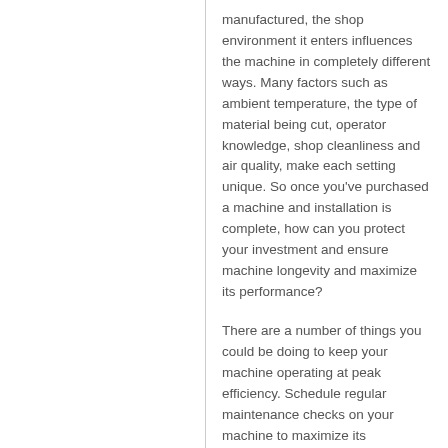manufactured, the shop environment it enters influences the machine in completely different ways. Many factors such as ambient temperature, the type of material being cut, operator knowledge, shop cleanliness and air quality, make each setting unique. So once you've purchased a machine and installation is complete, how can you protect your investment and ensure machine longevity and maximize its performance?
There are a number of things you could be doing to keep your machine operating at peak efficiency. Schedule regular maintenance checks on your machine to maximize its performance and minimize unexpected downtime. Performing regular maintenance checks creates the opportunity to identify and fix minor problems, which could impact or slow down machine performance. This will keep all components of your machine functioning